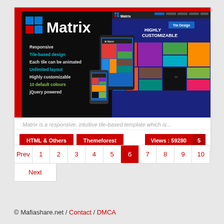[Figure (screenshot): Matrix responsive tile-based template screenshot showing logo, features list including Responsive, Tile-based design, Each tile can be animated, Unlimited layout, Highly customizable, 10 default colours, jQuery powered, and a tile-based website preview on right side]
Matrix is a responsive, intuitive tile-based template which is...
HTML & Others   Themeforest                           Views : 59280   5
Prev  1  2  3  4  5  6  7  8  9  10
Next
© Mafiashare.net / Contact / DMCA